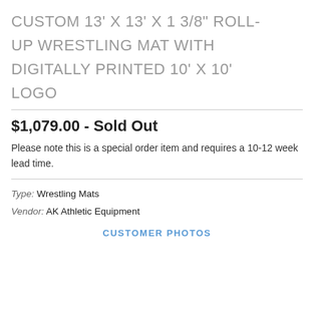CUSTOM 13' X 13' X 1 3/8" ROLL-UP WRESTLING MAT WITH DIGITALLY PRINTED 10' X 10' LOGO
$1,079.00 - Sold Out
Please note this is a special order item and requires a 10-12 week lead time.
Type: Wrestling Mats
Vendor: AK Athletic Equipment
CUSTOMER PHOTOS